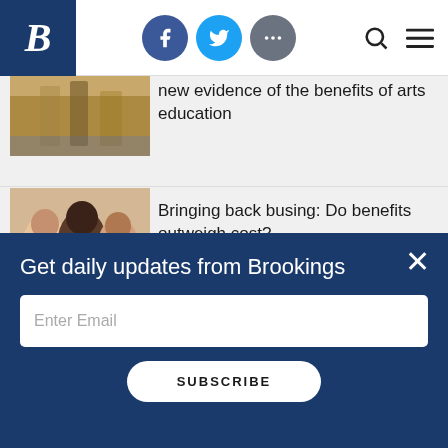[Figure (screenshot): Brookings Institution website header with logo, Facebook, Twitter, and more social icons, plus search and menu icons]
[Figure (photo): Classroom photo showing students and teacher at counters]
New evidence of the benefits of arts education
[Figure (photo): Group of young school children smiling at camera]
Bringing back busing: Do benefits outweigh cost?
[Figure (photo): Waterfront scene with person on bicycle]
District and charter school enrollments are not equal—but Boston could become a national
Get daily updates from Brookings
Enter Email
SUBSCRIBE